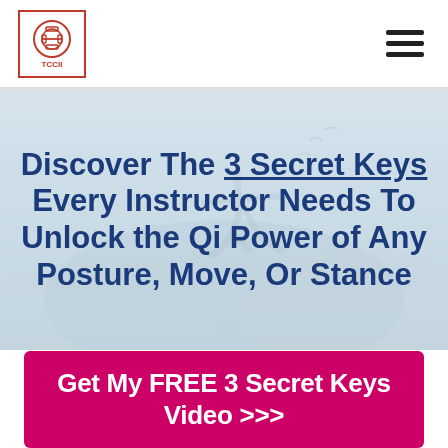[Figure (logo): TCCII logo: square red border with stylized Chinese characters inside, 'TCCII' text below]
Discover The 3 Secret Keys Every Instructor Needs To Unlock the Qi Power of Any Posture, Move, Or Stance
Get My FREE 3 Secret Keys Video >>>